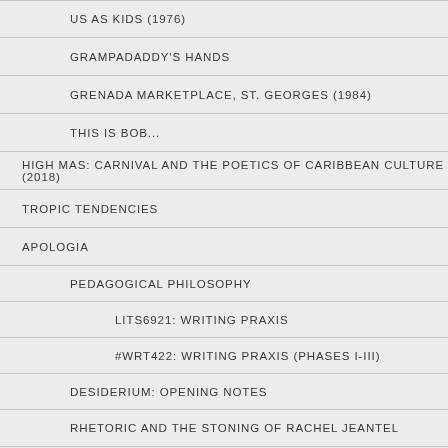US AS KIDS (1976)
GRAMPADADDY'S HANDS
GRENADA MARKETPLACE, ST. GEORGES (1984)
THIS IS BOB...
HIGH MAS: CARNIVAL AND THE POETICS OF CARIBBEAN CULTURE (2018)
TROPIC TENDENCIES
APOLOGIA
PEDAGOGICAL PHILOSOPHY
LITS6921: WRITING PRAXIS
#WRT422: WRITING PRAXIS (PHASES I-III)
DESIDERIUM: OPENING NOTES
RHETORIC AND THE STONING OF RACHEL JEANTEL